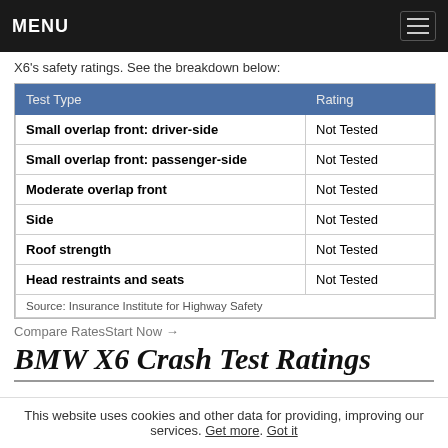MENU
X6's safety ratings. See the breakdown below:
| Test Type | Rating |
| --- | --- |
| Small overlap front: driver-side | Not Tested |
| Small overlap front: passenger-side | Not Tested |
| Moderate overlap front | Not Tested |
| Side | Not Tested |
| Roof strength | Not Tested |
| Head restraints and seats | Not Tested |
| Source: Insurance Institute for Highway Safety |  |
Compare RatesStart Now →
BMW X6 Crash Test Ratings
This website uses cookies and other data for providing, improving our services. Get more. Got it